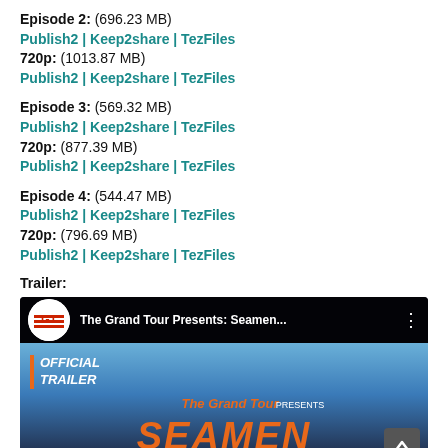Episode 2: (696.23 MB)
Publish2 | Keep2share | TezFiles
720p: (1013.87 MB)
Publish2 | Keep2share | TezFiles
Episode 3: (569.32 MB)
Publish2 | Keep2share | TezFiles
720p: (877.39 MB)
Publish2 | Keep2share | TezFiles
Episode 4: (544.47 MB)
Publish2 | Keep2share | TezFiles
720p: (796.69 MB)
Publish2 | Keep2share | TezFiles
Trailer:
[Figure (screenshot): YouTube video thumbnail for 'The Grand Tour Presents: Seamen...' showing OFFICIAL TRAILER text and The Grand Tour Presents SEAMEN title]